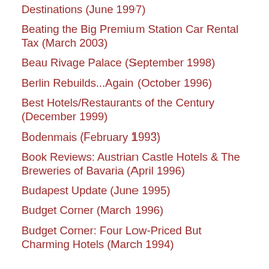Destinations (June 1997)
Beating the Big Premium Station Car Rental Tax (March 2003)
Beau Rivage Palace (September 1998)
Berlin Rebuilds...Again (October 1996)
Best Hotels/Restaurants of the Century (December 1999)
Bodenmais (February 1993)
Book Reviews: Austrian Castle Hotels & The Breweries of Bavaria (April 1996)
Budapest Update (June 1995)
Budget Corner (March 1996)
Budget Corner: Four Low-Priced But Charming Hotels (March 1994)